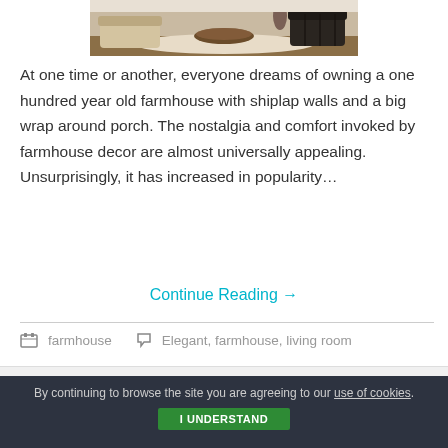[Figure (photo): Interior living room photo showing elegant furniture with armchairs and a coffee table]
At one time or another, everyone dreams of owning a one hundred year old farmhouse with shiplap walls and a big wrap around porch. The nostalgia and comfort invoked by farmhouse decor are almost universally appealing. Unsurprisingly, it has increased in popularity…
Continue Reading →
farmhouse    Elegant, farmhouse, living room
Search for
By continuing to browse the site you are agreeing to our use of cookies.
I UNDERSTAND